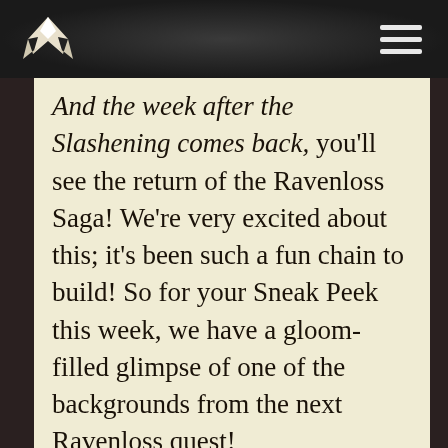[Logo] [Navigation menu]
And the week after the Slashening comes back, you'll see the return of the Ravenloss Saga!  We're very excited about this; it's been such a fun chain to build!  So for your Sneak Peek this week, we have a gloom-filled glimpse of one of the backgrounds from the next Ravenloss quest!